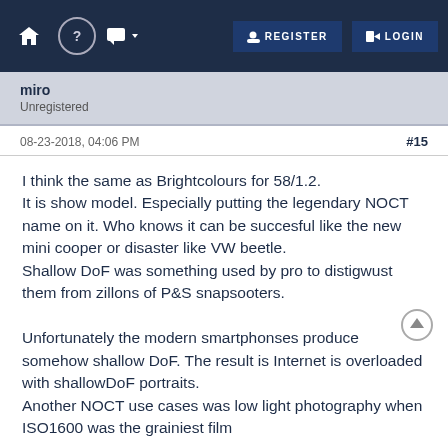REGISTER LOGIN
miro
Unregistered
08-23-2018, 04:06 PM   #15
I think the same as Brightcolours for 58/1.2.
It is show model. Especially putting the legendary NOCT name on it. Who knows it can be succesful like the new mini cooper or disaster like VW beetle.
Shallow DoF was something used by pro to distigwust them from zillons of P&S snapsooters.

Unfortunately the modern smartphonses produce somehow shallow DoF. The result is Internet is overloaded with shallowDoF portraits.
Another NOCT use cases was low light photography when ISO1600 was the grainiest film